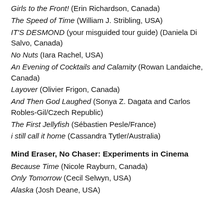Girls to the Front! (Erin Richardson, Canada)
The Speed of Time (William J. Stribling, USA)
IT'S DESMOND (your misguided tour guide) (Daniela Di Salvo, Canada)
No Nuts (Iara Rachel, USA)
An Evening of Cocktails and Calamity (Rowan Landaiche, Canada)
Layover (Olivier Frigon, Canada)
And Then God Laughed (Sonya Z. Dagata and Carlos Robles-Gil/Czech Republic)
The First Jellyfish (Sébastien Pesle/France)
i still call it home (Cassandra Tytler/Australia)
Mind Eraser, No Chaser: Experiments in Cinema
Because Time (Nicole Rayburn, Canada)
Only Tomorrow (Cecil Selwyn, USA)
Alaska (Josh Deane, USA)